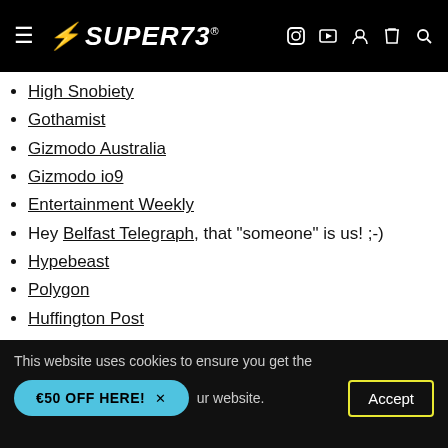SUPER73 (navigation header with logo, hamburger menu, and icons)
High Snobiety
Gothamist
Gizmodo Australia
Gizmodo io9
Entertainment Weekly
Hey Belfast Telegraph, that "someone" is us! ;-)
Hypebeast
Polygon
Huffington Post
Time Magazine
Nerdist
Makezine
Uncrate
This website uses cookies to ensure you get the best experience on our website. €50 OFF HERE! × Accept